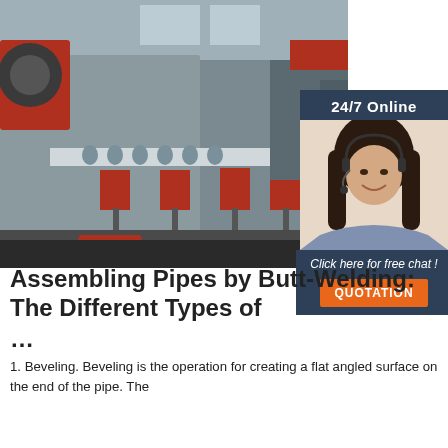[Figure (photo): Industrial pipe beveling or welding machinery in a factory, showing large metal equipment with red and grey components on a conveyor system. A sidebar overlay shows a 24/7 Online customer service representative with headset, with a 'Click here for free chat!' prompt and an orange QUOTATION button.]
Assembling Pipes by Butt-Welding: The Different Types of ...
1. Beveling. Beveling is the operation for creating a flat angled surface on the end of the pipe. The